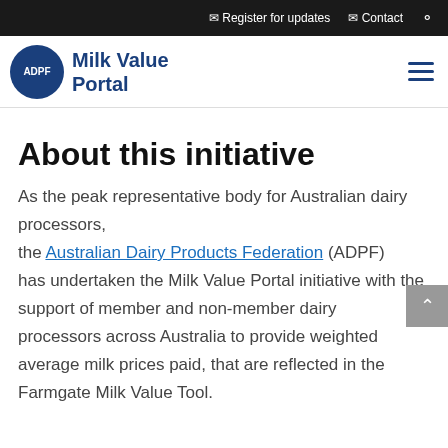Register for updates   Contact
ADPF Milk Value Portal
About this initiative
As the peak representative body for Australian dairy processors, the Australian Dairy Products Federation (ADPF) has undertaken the Milk Value Portal initiative with the support of member and non-member dairy processors across Australia to provide weighted average milk prices paid, that are reflected in the Farmgate Milk Value Tool.